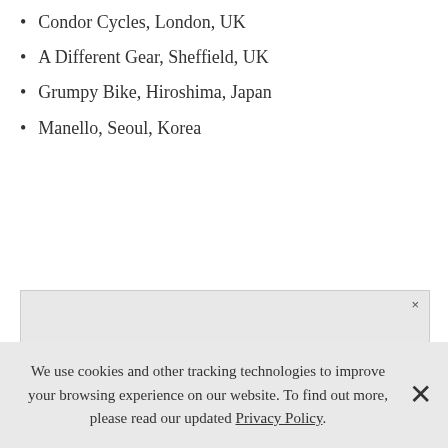Condor Cycles, London, UK
A Different Gear, Sheffield, UK
Grumpy Bike, Hiroshima, Japan
Manello, Seoul, Korea
[Figure (screenshot): A map interface showing a grey map area with blue location pin markers clustered together, and an X close button in the top right corner.]
We use cookies and other tracking technologies to improve your browsing experience on our website. To find out more, please read our updated Privacy Policy.